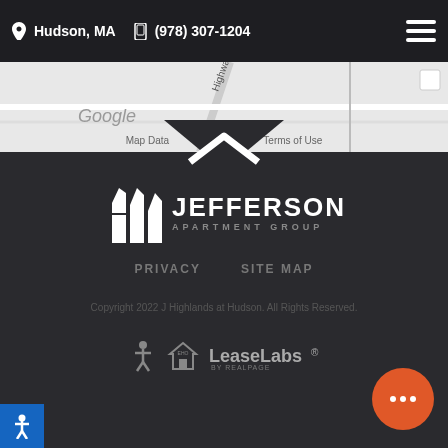Hudson, MA  (978) 307-1204
[Figure (map): Google Maps partial view showing Hudson MA area with streets including Highway St and Coolidge St. Shows 'Map Data' and 'Terms of Use' labels.]
[Figure (logo): Jefferson Apartment Group logo — stylized building/J icon in white with JEFFERSON in large letters and APARTMENT GROUP below]
PRIVACY   SITE MAP
Copyright 2022 J Highlands at Hudson. All Rights Reserved.
[Figure (logo): Accessibility icon, Equal Housing Opportunity logo, LeaseLabs by RealPage logo]
[Figure (other): Orange chat bubble icon with three dots]